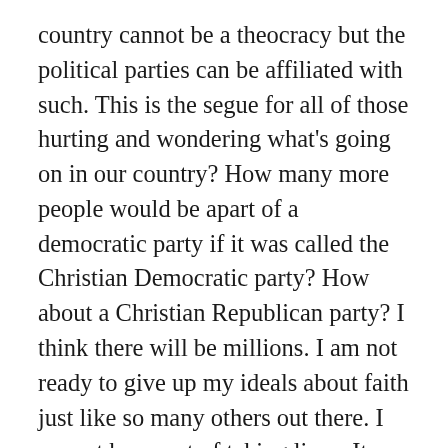country cannot be a theocracy but the political parties can be affiliated with such. This is the segue for all of those hurting and wondering what's going on in our country? How many more people would be apart of a democratic party if it was called the Christian Democratic party? How about a Christian Republican party? I think there will be millions. I am not ready to give up my ideals about faith just like so many others out there. I cannot be a part of taking lives. It states thou shalt not kill in bold black and  white. We have created ways to make money while punishing or subjecting others. This is wrong. Corruption is everywhere. Restorative justice. Redemption. These things sound so familiar. We have to make changes for